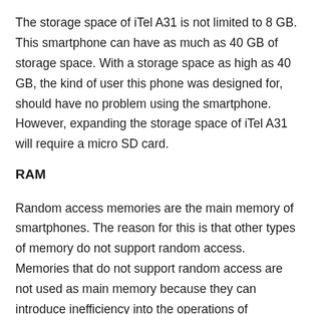The storage space of iTel A31 is not limited to 8 GB. This smartphone can have as much as 40 GB of storage space. With a storage space as high as 40 GB, the kind of user this phone was designed for, should have no problem using the smartphone. However, expanding the storage space of iTel A31 will require a micro SD card.
RAM
Random access memories are the main memory of smartphones. The reason for this is that other types of memory do not support random access. Memories that do not support random access are not used as main memory because they can introduce inefficiency into the operations of smartphones.
iTel A31 comes with a 1 GB RAM. If used by the kind of user it